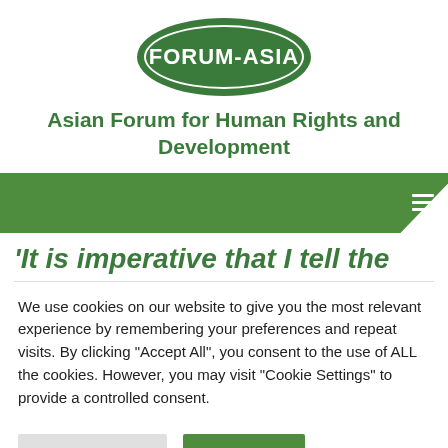[Figure (logo): Forum-Asia oval green logo with white border and white text reading FORUM-ASIA]
Asian Forum for Human Rights and Development
[Figure (other): Green navigation bar with hamburger menu icon and white folded corner tab]
'It is imperative that I tell the
We use cookies on our website to give you the most relevant experience by remembering your preferences and repeat visits. By clicking "Accept All", you consent to the use of ALL the cookies. However, you may visit "Cookie Settings" to provide a controlled consent.
Cookie Settings | Accept All